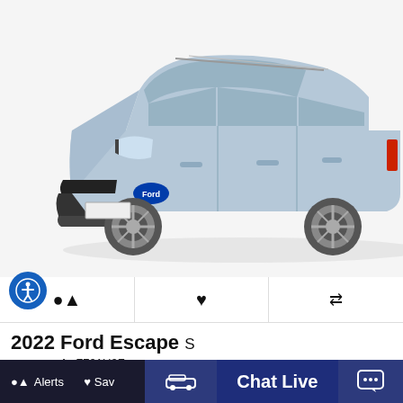[Figure (photo): 2022 Ford Escape S SUV in silver-blue color, three-quarter front view on white background]
🔔  ♥  ⇄
2022 Ford Escape S
Stock: Z701U0F
MSRP: $29,365
Alerts  Save  Chat Live